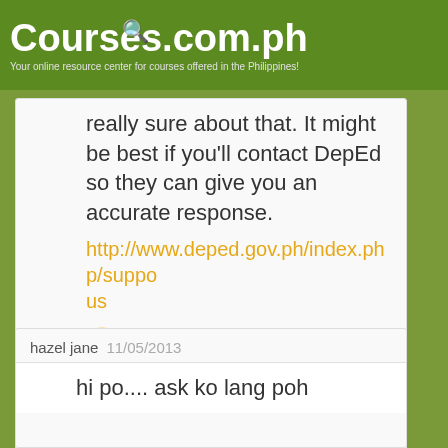Courses.com.ph — Your online resource center for courses offered in the Philippines!
really sure about that. It might be best if you'll contact DepEd so they can give you an accurate response. http://www.deped.gov.ph/index.php/suppo us 🙂
Log in to Reply
hazel jane  11/05/2013
hi po.... ask ko lang poh